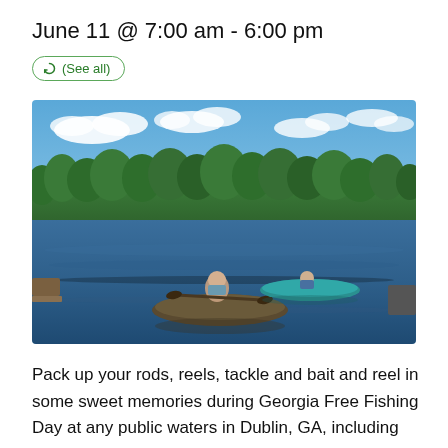June 11 @ 7:00 am - 6:00 pm
(See all)
[Figure (photo): Two people kayaking on a calm blue lake with a forested treeline in the background under a partly cloudy sky.]
Pack up your rods, reels, tackle and bait and reel in some sweet memories during Georgia Free Fishing Day at any public waters in Dublin, GA, including